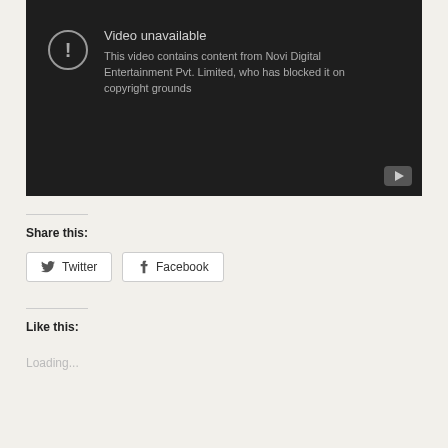[Figure (screenshot): YouTube video unavailable block with dark background. Shows exclamation circle icon and text: 'Video unavailable. This video contains content from Novi Digital Entertainment Pvt. Limited, who has blocked it on copyright grounds'. YouTube play button icon in bottom-right corner.]
Share this:
Twitter
Facebook
Like this:
Loading...